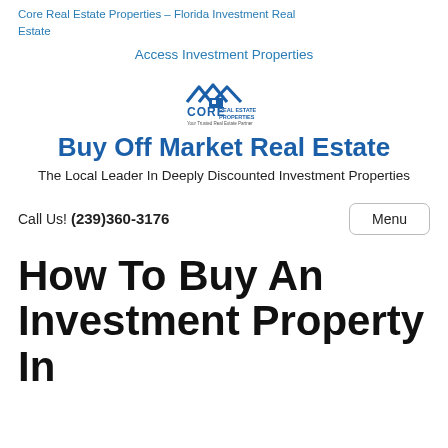Core Real Estate Properties – Florida Investment Real Estate
Access Investment Properties
[Figure (logo): Core Real Estate Properties logo with house/roof icon and tagline]
Buy Off Market Real Estate
The Local Leader In Deeply Discounted Investment Properties
Call Us! (239)360-3176
Menu
How To Buy An Investment Property In